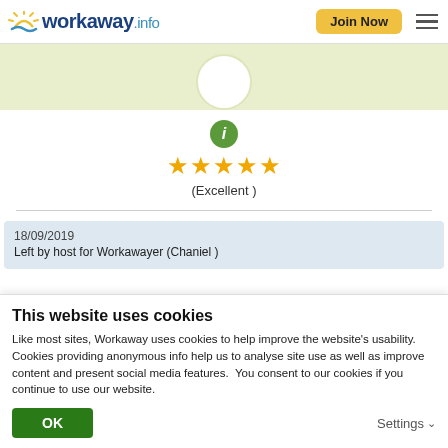[Figure (logo): Workaway.info logo with sun graphic in top left; Join Now button and hamburger menu on the right]
[Figure (illustration): Green/tan banner with a white circular profile avatar at the bottom center]
[Figure (infographic): Green info circle icon above five gold stars rating with label (Excellent)]
(Excellent )
18/09/2019
Left by host for Workawayer (Chaniel )
This website uses cookies
Like most sites, Workaway uses cookies to help improve the website's usability. Cookies providing anonymous info help us to analyse site use as well as improve content and present social media features.  You consent to our cookies if you continue to use our website.
OK
Settings